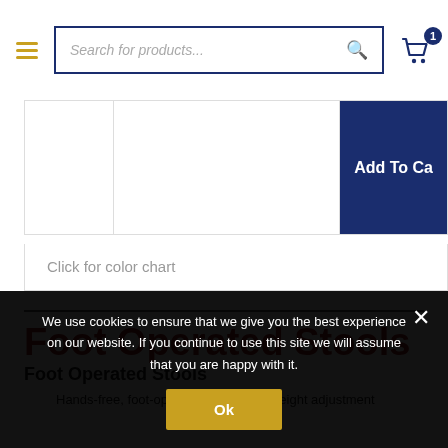Search for products...
Click for color chart
Foot Operated Stools
Foot Operated Stools
Hands-free, foot-operated pneumatic height adjustment
We use cookies to ensure that we give you the best experience on our website. If you continue to use this site we will assume that you are happy with it.